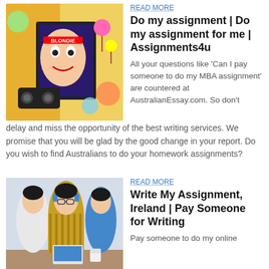[Figure (photo): Colorful pop-art collage image with Blondie theme, bright colors, lollipops, boombox]
READ MORE
Do my assignment | Do my assignment for me | Assignments4u
All your questions like ‘Can I pay someone to do my MBA assignment’ are countered at AustralianEssay.com. So don’t delay and miss the opportunity of the best writing services. We promise that you will be glad by the good change in your report. Do you wish to find Australians to do your homework assignments?
[Figure (photo): Three students, boys, sitting together at a table with a laptop, one wearing glasses and headphones]
READ MORE
Write My Assignment, Ireland | Pay Someone for Writing
Pay someone to do my online